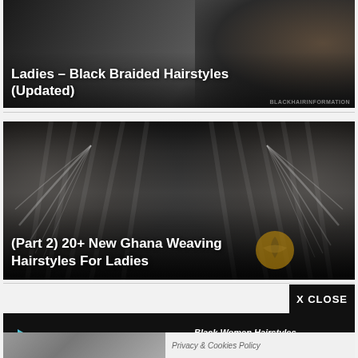[Figure (screenshot): Dark-toned image card with white text overlay reading 'Ladies – Black Braided Hairstyles (Updated)']
[Figure (screenshot): Photo of woman with Ghana weaving braided hairstyle (back view, mirrored), with white text overlay reading '(Part 2) 20+ New Ghana Weaving Hairstyles For Ladies']
[Figure (screenshot): Google Play Store advertisement banner on black background with play button logo, 'GET IT ON Google Play' text, and 'Black Women Hairstyles Mobile APP is on Google play! Download now and rate it!' text]
X CLOSE
Privacy & Cookies Policy